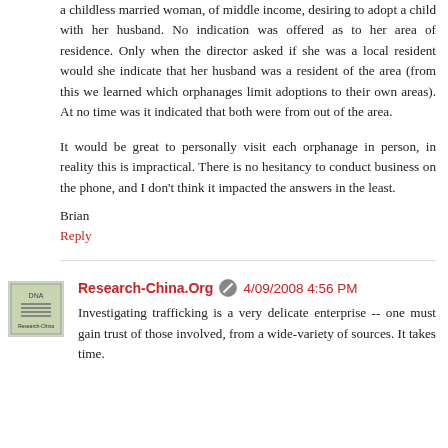a childless married woman, of middle income, desiring to adopt a child with her husband. No indication was offered as to her area of residence. Only when the director asked if she was a local resident would she indicate that her husband was a resident of the area (from this we learned which orphanages limit adoptions to their own areas). At no time was it indicated that both were from out of the area.
It would be great to personally visit each orphanage in person, in reality this is impractical. There is no hesitancy to conduct business on the phone, and I don't think it impacted the answers in the least.
Brian
Reply
Research-China.Org  4/09/2008 4:56 PM
Investigating trafficking is a very delicate enterprise -- one must gain trust of those involved, from a wide-variety of sources. It takes time.